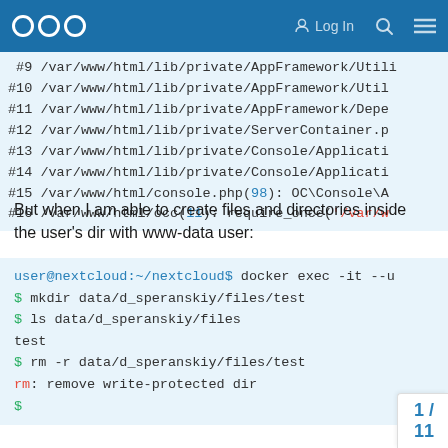Nextcloud community forum header with logo, Log In, search, and menu icons
#9 /var/www/html/lib/private/AppFramework/Util
#10 /var/www/html/lib/private/AppFramework/Util
#11 /var/www/html/lib/private/AppFramework/Depe
#12 /var/www/html/lib/private/ServerContainer.p
#13 /var/www/html/lib/private/Console/Applicati
#14 /var/www/html/lib/private/Console/Applicati
#15 /var/www/html/console.php(98): OC\Console\A
#16 /var/www/html/occ(11): require_once('/var/w
But when I am able to create files and directories inside the user's dir with www-data user:
user@nextcloud:~/nextcloud$ docker exec -it --u
$ mkdir data/d_speranskiy/files/test
$ ls data/d_speranskiy/files
test
$ rm -r data/d_speranskiy/files/test
rm: remove write-protected dir
$
1 / 11